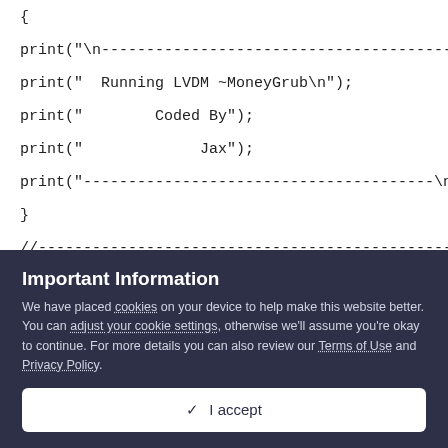{

print("\n---------------------------------------");

print("  Running LVDM ~MoneyGrub\n");

print("        Coded By");

print("             Jax");

print("---------------------------------------\n");

}

//--------------------------------------------------------------------
Important Information
We have placed cookies on your device to help make this website better. You can adjust your cookie settings, otherwise we'll assume you're okay to continue. For more details you can also review our Terms of Use and Privacy Policy.
✓  I accept